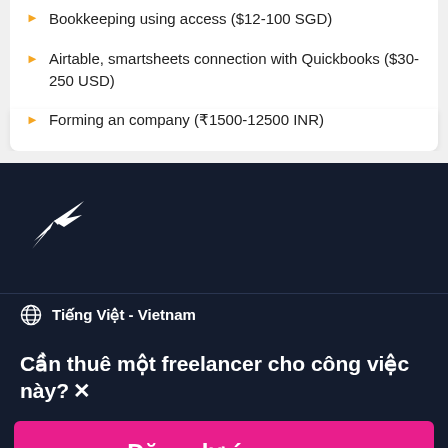Bookkeeping using access ($12-100 SGD)
Airtable, smartsheets connection with Quickbooks ($30-250 USD)
Forming an company (₹1500-12500 INR)
[Figure (logo): Freelancer.com hummingbird logo in white on dark navy background]
Tiếng Việt - Vietnam
Cần thuê một freelancer cho công việc này?
Đăng dự án ngay